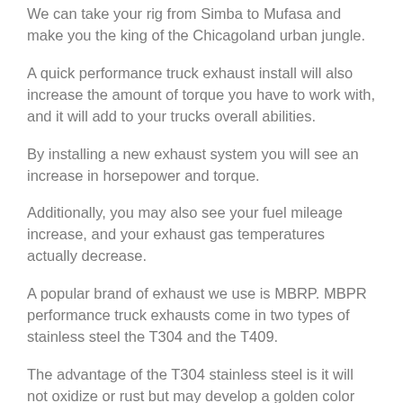We can take your rig from Simba to Mufasa and make you the king of the Chicagoland urban jungle.
A quick performance truck exhaust install will also increase the amount of torque you have to work with, and it will add to your trucks overall abilities.
By installing a new exhaust system you will see an increase in horsepower and torque.
Additionally, you may also see your fuel mileage increase, and your exhaust gas temperatures actually decrease.
A popular brand of exhaust we use is MBRP. MBPR performance truck exhausts come in two types of stainless steel the T304 and the T409.
The advantage of the T304 stainless steel is it will not oxidize or rust but may develop a golden color when exposed to high